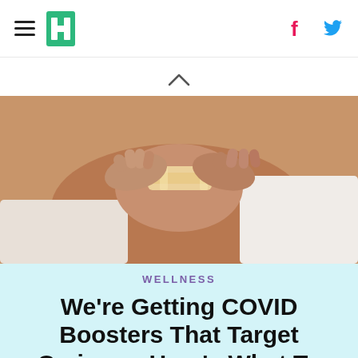HuffPost navigation bar with hamburger menu, logo, Facebook and Twitter icons
[Figure (photo): Hands applying a bandage or vaccine patch to someone's arm]
WELLNESS
We're Getting COVID Boosters That Target Omicron. Here's What To Know.
[Figure (photo): A yellow pleated lamp shade on a table lamp, partially visible]